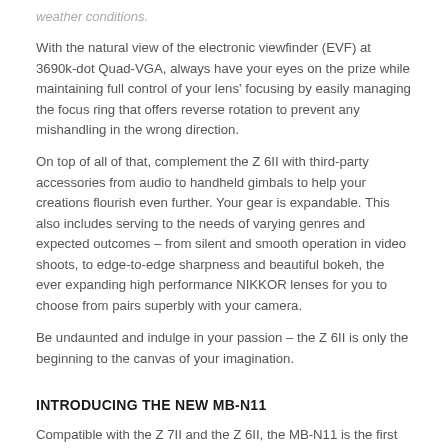weather conditions.
With the natural view of the electronic viewfinder (EVF) at 3690k-dot Quad-VGA, always have your eyes on the prize while maintaining full control of your lens' focusing by easily managing the focus ring that offers reverse rotation to prevent any mishandling in the wrong direction.
On top of all of that, complement the Z 6II with third-party accessories from audio to handheld gimbals to help your creations flourish even further. Your gear is expandable. This also includes serving to the needs of varying genres and expected outcomes – from silent and smooth operation in video shoots, to edge-to-edge sharpness and beautiful bokeh, the ever expanding high performance NIKKOR lenses for you to choose from pairs superbly with your camera.
Be undaunted and indulge in your passion – the Z 6II is only the beginning to the canvas of your imagination.
INTRODUCING THE NEW MB-N11
Compatible with the Z 7II and the Z 6II, the MB-N11 is the first